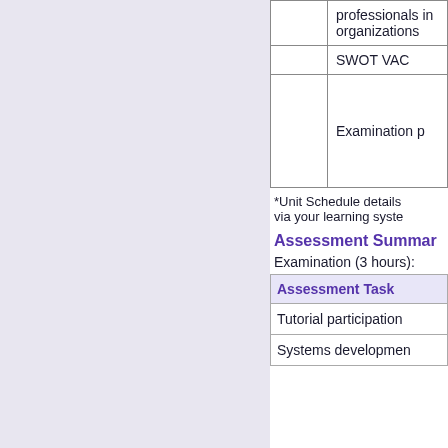|  |  |
| --- | --- |
|  | professionals in organizations |
|  | SWOT VAC |
|  | Examination p |
*Unit Schedule details via your learning syste
Assessment Summar
Examination (3 hours):
| Assessment Task |
| --- |
| Tutorial participation |
| Systems developmen |